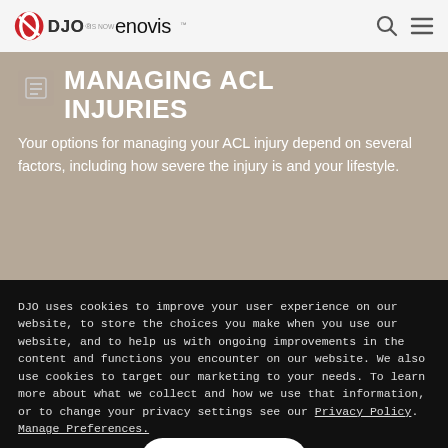DJO IS NOW enovis.
MANAGING ACL INJURIES
Your options for managing your ACL injury depend on several factors, including how severe the injury is and your lifestyle.
DJO uses cookies to improve your user experience on our website, to store the choices you make when you use our website, and to help us with ongoing improvements in the content and functions you encounter on our website. We also use cookies to target our marketing to your needs. To learn more about what we collect and how we use that information, or to change your privacy settings see our Privacy Policy. Manage Preferences.
ACCEPT